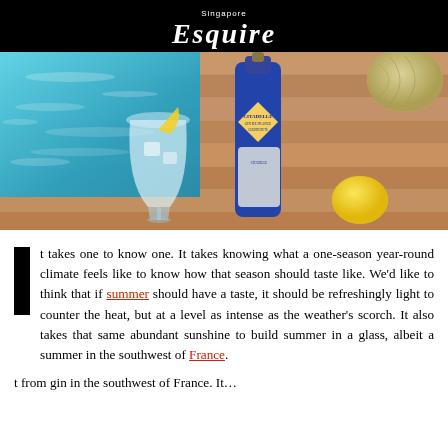Singapore Esquire
[Figure (photo): Citadelle Jardin d'Été gin bottle on a wooden deck beside a pool, with a gin and tonic cocktail glass and a lemon]
It takes one to know one. It takes knowing what a one-season year-round climate feels like to know how that season should taste like. We'd like to think that if summer should have a taste, it should be refreshingly light to counter the heat, but at a level as intense as the weather's scorch. It also takes that same abundant sunshine to build summer in a glass, albeit a summer in the southwest of France.
t from gin in the southwest of France. It...